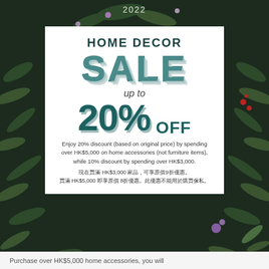2022
HOME DECOR
SALE
up to
20% OFF
Enjoy 20% discount (based on original price) by spending over HK$5,000 on home accessories (not furniture items), while 10% discount by spending over HK$3,000.
現在買滿 HK$3,000 家品，可享原價9折優惠。買滿 HK$5,000 即享原價 8折優惠。此優惠不能用於購買傢私。
Purchase over HK$5,000 home accessories, you will